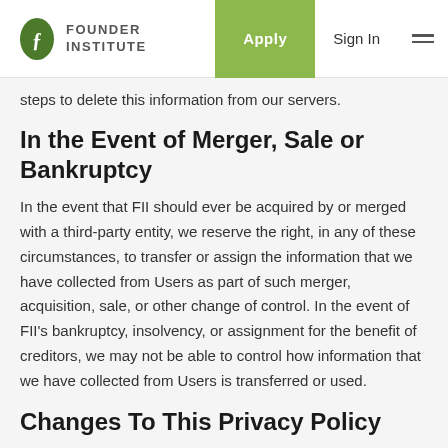Founder Institute | Apply | Sign In
steps to delete this information from our servers.
In the Event of Merger, Sale or Bankruptcy
In the event that FII should ever be acquired by or merged with a third-party entity, we reserve the right, in any of these circumstances, to transfer or assign the information that we have collected from Users as part of such merger, acquisition, sale, or other change of control. In the event of FII's bankruptcy, insolvency, or assignment for the benefit of creditors, we may not be able to control how information that we have collected from Users is transferred or used.
Changes To This Privacy Policy
We may update our Privacy Policy from time to time. We will notify you of any changes by posting the new Privacy Policy on this page.